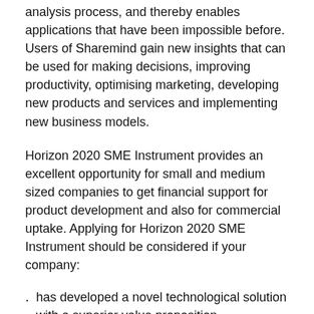data available for sharing, analysis and simplifies the data analysis process, and thereby enables applications that have been impossible before. Users of Sharemind gain new insights that can be used for making decisions, improving productivity, optimising marketing, developing new products and services and implementing new business models.
Horizon 2020 SME Instrument provides an excellent opportunity for small and medium sized companies to get financial support for product development and also for commercial uptake. Applying for Horizon 2020 SME Instrument should be considered if your company:
has developed a novel technological solution with a superior value proposition
has already contracted the first customers and believes there is strong market demand for the solution
has tested and validated a prototype proving the